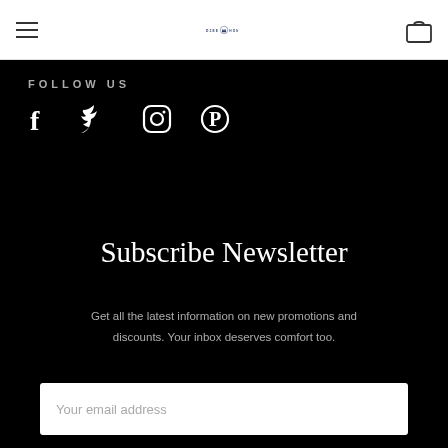DZEE HOME (navigation bar with hamburger menu, logo, and bag icon)
FOLLOW US
[Figure (illustration): Social media icons: Facebook, Twitter, Instagram, Pinterest]
Subscribe Newsletter
Get all the latest information on new promotions and discounts. Your inbox deserves comfort too.
Your email address